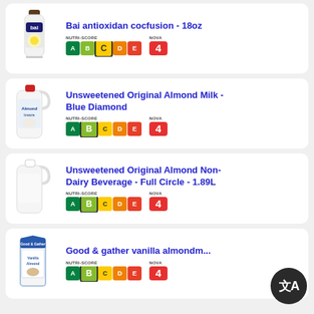[Figure (photo): Bai antioxidant cocfusion 18oz bottle product image with nutri-score C and NOVA 4 badge]
Bai antioxidan cocfusion - 18oz
[Figure (infographic): Nutri-Score bar showing A B C D E with C highlighted, and NOVA 4 badge]
[Figure (photo): Unsweetened Original Almond Milk Blue Diamond large jug product image with nutri-score B and NOVA 4 badge]
Unsweetened Original Almond Milk - Blue Diamond
[Figure (infographic): Nutri-Score bar showing A B C D E with B highlighted, and NOVA 4 badge]
[Figure (photo): Unsweetened Original Almond Non-Dairy Beverage Full Circle 1.89L jug product image with nutri-score B and NOVA 4 badge]
Unsweetened Original Almond Non-Dairy Beverage - Full Circle - 1.89L
[Figure (infographic): Nutri-Score bar showing A B C D E with B highlighted, and NOVA 4 badge]
[Figure (photo): Good and gather vanilla almondmilk carton product image with nutri-score B and NOVA 4 badge]
Good & gather vanilla almondm...
[Figure (infographic): Nutri-Score bar showing A B C D E with B highlighted, and NOVA 4 badge]